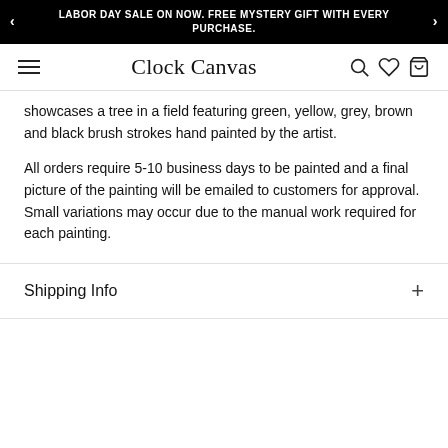LABOR DAY SALE ON NOW. FREE MYSTERY GIFT WITH EVERY PURCHASE.
Clock Canvas
showcases a tree in a field featuring green, yellow, grey, brown and black brush strokes hand painted by the artist.
All orders require 5-10 business days to be painted and a final picture of the painting will be emailed to customers for approval. Small variations may occur due to the manual work required for each painting.
Shipping Info